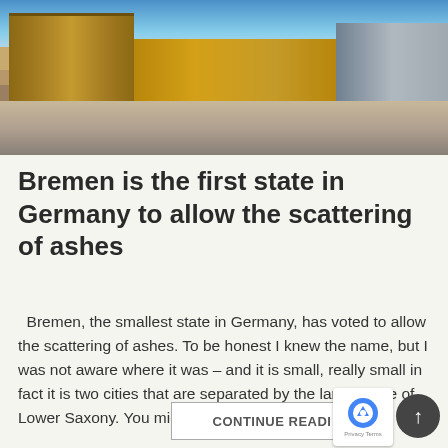[Figure (photo): Photograph of a city square in Bremen, Germany, showing historic brick buildings with arched facades on the left, a modern glass building on the right, and a wide open plaza in the middle with people and lamp posts.]
Bremen is the first state in Germany to allow the scattering of ashes
Bremen, the smallest state in Germany, has voted to allow the scattering of ashes. To be honest I knew the name, but I was not aware where it was – and it is small, really small in fact it is two cities that are separated by the larger state of Lower Saxony. You might […]